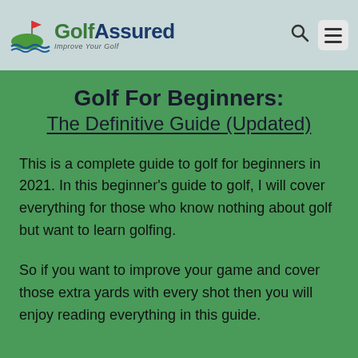GolfAssured – Improve Your Golf
Golf For Beginners: The Definitive Guide (Updated)
This is a complete guide to golf for beginners in 2021. In this beginner's guide to golf, I will cover everything for those who know nothing about golf but want to learn golfing.
So if you want to improve your game and cover those extra yards with every shot then you will enjoy reading everything in this guide.